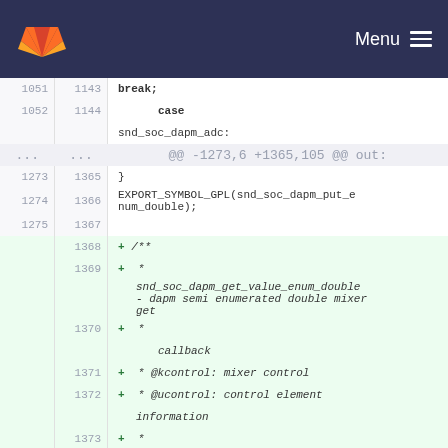GitLab — Menu
[Figure (screenshot): GitLab code diff view showing lines 1051-1374 of a source file with added lines for snd_soc_dapm functions]
1051  1143    break;
1052  1144    case
              snd_soc_dapm_adc:
...   ...   @@ -1273,6 +1365,105 @@ out:
1273  1365    }
1274  1366    EXPORT_SYMBOL_GPL(snd_soc_dapm_put_enum_double);
1275  1367
      1368  + /**
      1369  + *
              snd_soc_dapm_get_value_enum_double - dapm semi enumerated double mixer get
      1370  + *       callback
      1371  + * @kcontrol: mixer control
      1372  + * @ucontrol: control element information
      1373  + *
      1374  + * Callback to get the value of a dapm semi enumerated double mixer